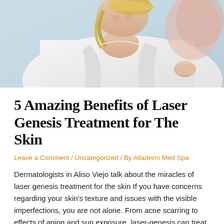[Figure (photo): Photo of a blonde woman in a white robe or towel, appearing to be in a spa or medical setting]
5 Amazing Benefits of Laser Genesis Treatment for The Skin
Leave a Comment / Uncategorized / By Alladerm Med Spa
Dermatologists in Aliso Viejo talk about the miracles of laser genesis treatment for the skin If you have concerns regarding your skin's texture and issues with the visible imperfections, you are not alone. From acne scarring to effects of aging and sun exposure, laser-genesis can treat all skin-related issues. Learn what this treatment is about …
Read More »